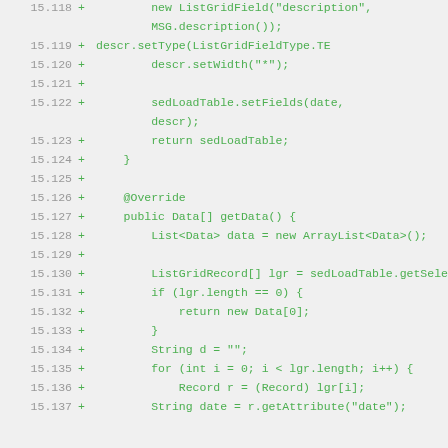Code diff showing lines 15.118 through 15.137 of a Java source file. Lines show additions (+) including ListGridField creation, setType, setWidth, setFields, return statement, closing brace, @Override annotation, getData() method with ArrayList, ListGridRecord selection, conditional return, String operations, for loop, Record casting, and String date retrieval.